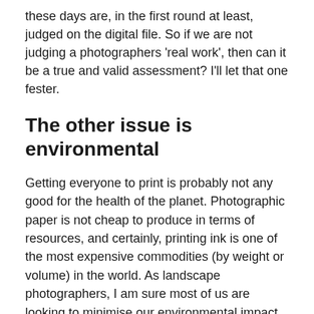these days are, in the first round at least, judged on the digital file. So if we are not judging a photographers 'real work', then can it be a true and valid assessment? I'll let that one fester.
The other issue is environmental
Getting everyone to print is probably not any good for the health of the planet. Photographic paper is not cheap to produce in terms of resources, and certainly, printing ink is one of the most expensive commodities (by weight or volume) in the world. As landscape photographers, I am sure most of us are looking to minimise our environmental impact, and as such it is sometimes difficult to reconcile our love of expensive and resource-heavy equipment and paraphernalia with our obvious regard for nature. Reams of photographic paper being bought, and consequentially - let's not kid ourselves - a lot of it being wasted is not exactly